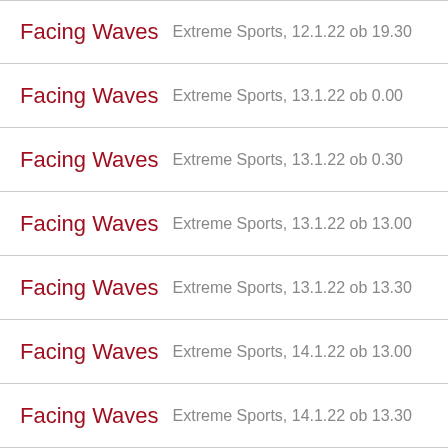Facing Waves — Extreme Sports, 12.1.22 ob 19.30
Facing Waves — Extreme Sports, 13.1.22 ob 0.00
Facing Waves — Extreme Sports, 13.1.22 ob 0.30
Facing Waves — Extreme Sports, 13.1.22 ob 13.00
Facing Waves — Extreme Sports, 13.1.22 ob 13.30
Facing Waves — Extreme Sports, 14.1.22 ob 13.00
Facing Waves — Extreme Sports, 14.1.22 ob 13.30